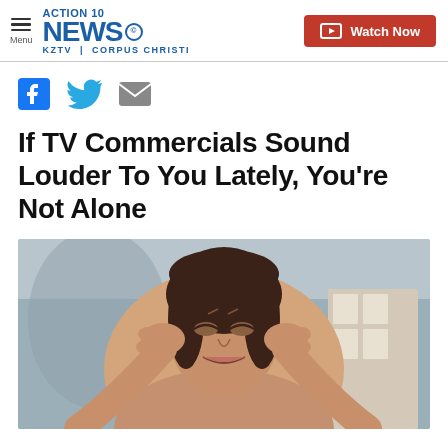ACTION 10 NEWS KZTV | CORPUS CHRISTI — Watch Now
[Figure (logo): Action 10 News CBS logo with KZTV Corpus Christi text and Watch Now red button]
[Figure (infographic): Social sharing icons: Facebook, Twitter, Email]
If TV Commercials Sound Louder To You Lately, You're Not Alone
[Figure (photo): Woman wincing and covering her ears with both hands, appearing distressed by loud sound]